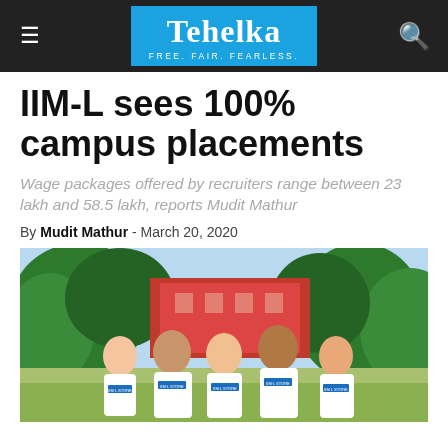Tehelka — FREE. FAIR. FEARLESS.
IIM-L sees 100% campus placements
Wage packages offered by recruiters range between 23 lakh and 58.5 lakh, reports Mudit Mathur
By Mudit Mathur - March 20, 2020
[Figure (photo): Group of five young people in white IIM-L STORE t-shirts standing together outdoors in front of a red building with trees in the background.]